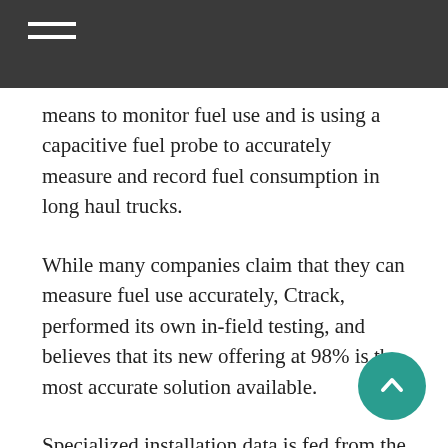means to monitor fuel use and is using a capacitive fuel probe to accurately measure and record fuel consumption in long haul trucks.
While many companies claim that they can measure fuel use accurately, Ctrack, performed its own in-field testing, and believes that its new offering at 98% is the most accurate solution available.
Specialized installation data is fed from the probe to the cloud-based environment and coupled to a Ctrack tracking device, real-time location information allows operators to identify where fuel is being decreased and/or increased.
The digital dashboard gives an overview of fuel u... over a period of time, as well as the number of ass... and percentages of fuel decreases in each vehicle. The dashboard shows the percentage of decreases,